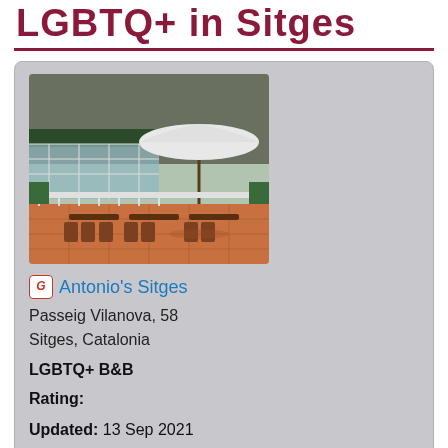LGBTQ+ in Sitges
[Figure (photo): Outdoor terrace with wooden tables and chairs, a large white umbrella, and a building with balconies and an awning in the background.]
Antonio's Sitges
Passeig Vilanova, 58
Sitges, Catalonia
LGBTQ+ B&B
Rating: ★★★★★
Updated: 13 Sep 2021
[Figure (photo): Aerial view of a building with terracotta roof tiles surrounded by trees.]